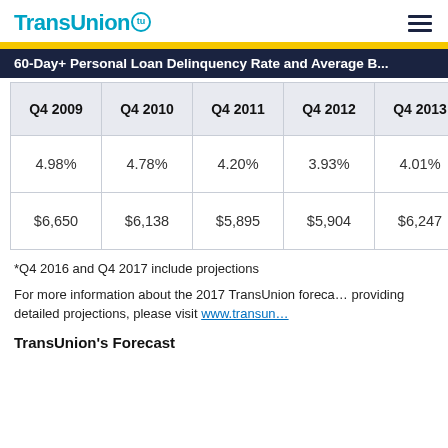TransUnion
60-Day+ Personal Loan Delinquency Rate and Average Balance
| Q4 2009 | Q4 2010 | Q4 2011 | Q4 2012 | Q4 2013 | Q4 2... |
| --- | --- | --- | --- | --- | --- |
| 4.98% | 4.78% | 4.20% | 3.93% | 4.01% | 3.73... |
| $6,650 | $6,138 | $5,895 | $5,904 | $6,247 | $6,7... |
*Q4 2016 and Q4 2017 include projections
For more information about the 2017 TransUnion forecast providing detailed projections, please visit www.transunion.com
TransUnion's Forecast